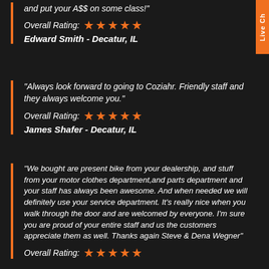and put your A$$ on some class!"
Overall Rating: ★★★★★
Edward Smith - Decatur, IL
"Always look forward to going to Coziahr. Friendly staff and they always welcome you."
Overall Rating: ★★★★★
James Shafer - Decatur, IL
"We bought are present bike from your dealership, and stuff from your motor clothes department,and parts department and your staff has always been awesome. And when needed we will definitely use your service department. It's really nice when you walk through the door and are welcomed by everyone. I'm sure you are proud of your entire staff and us the customers appreciate them as well. Thanks again Steve & Dena Wegner"
Overall Rating: ★★★★★